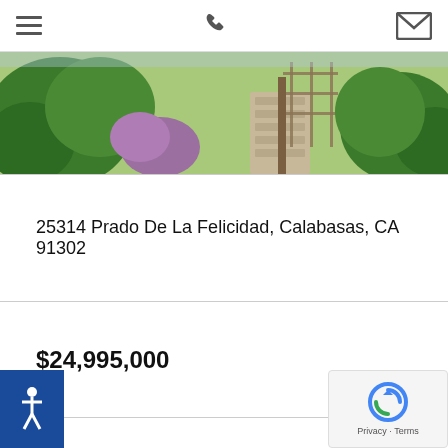Navigation bar with hamburger menu, phone icon, and email icon
[Figure (photo): Outdoor garden scene with green foliage, flowers, a lattice structure, and a stone pathway]
25314 Prado De La Felicidad, Calabasas, CA 91302
$24,995,000
7 Beds